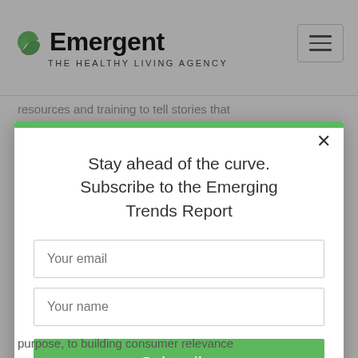[Figure (logo): Emergent THE HEALTHY LIVING AGENCY logo with green leaf/swirl icon]
resources and training to tell stories that
Stay ahead of the curve. Subscribe to the Emerging Trends Report
Your email
Your name
Subscribe
purpose, to building consumer relevance